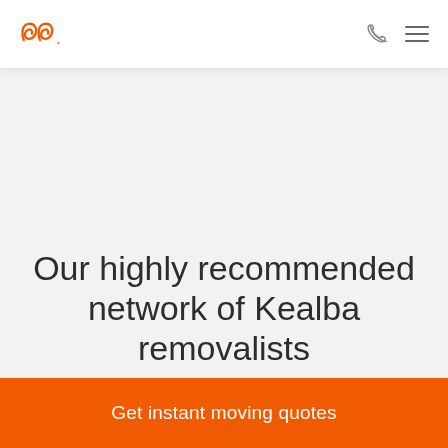removalist.com.au logo, phone icon, menu icon
Our highly recommended network of Kealba removalists
Get instant moving quotes